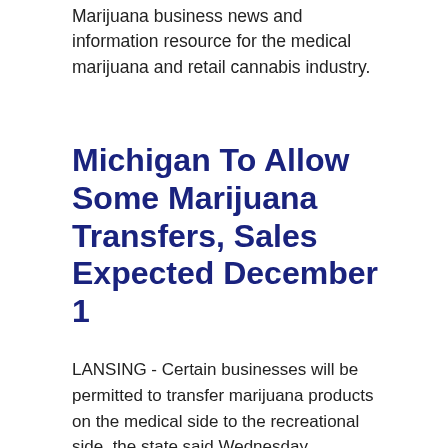Marijuana business news and information resource for the medical marijuana and retail cannabis industry.
Michigan To Allow Some Marijuana Transfers, Sales Expected December 1
LANSING - Certain businesses will be permitted to transfer marijuana products on the medical side to the recreational side, the state said Wednesday, meaning limited recreational sales are likely to happen in a little over two weeks. Without allowing the transfer of some product, recreational sales would not have occurred until March or April of